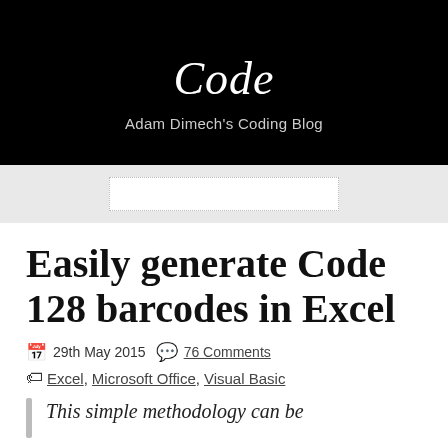Code
Adam Dimech's Coding Blog
Easily generate Code 128 barcodes in Excel
29th May 2015   76 Comments
Excel, Microsoft Office, Visual Basic
This simple methodology can be